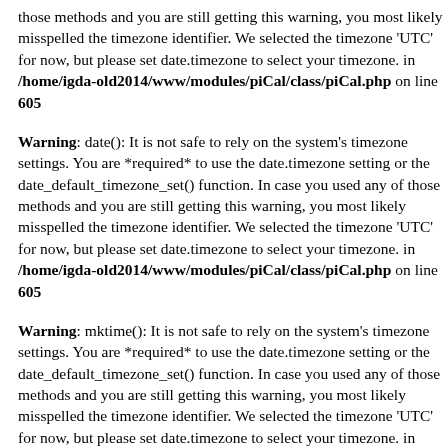those methods and you are still getting this warning, you most likely misspelled the timezone identifier. We selected the timezone 'UTC' for now, but please set date.timezone to select your timezone. in /home/igda-old2014/www/modules/piCal/class/piCal.php on line 605
Warning: date(): It is not safe to rely on the system's timezone settings. You are *required* to use the date.timezone setting or the date_default_timezone_set() function. In case you used any of those methods and you are still getting this warning, you most likely misspelled the timezone identifier. We selected the timezone 'UTC' for now, but please set date.timezone to select your timezone. in /home/igda-old2014/www/modules/piCal/class/piCal.php on line 605
Warning: mktime(): It is not safe to rely on the system's timezone settings. You are *required* to use the date.timezone setting or the date_default_timezone_set() function. In case you used any of those methods and you are still getting this warning, you most likely misspelled the timezone identifier. We selected the timezone 'UTC' for now, but please set date.timezone to select your timezone. in /home/igda-old2014/www/modules/piCal/class/piCal.php on line 605
Warning: date(): It is not safe to rely on the system's timezone